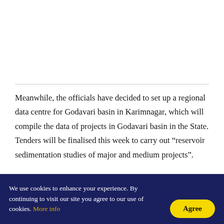Meanwhile, the officials have decided to set up a regional data centre for Godavari basin in Karimnagar, which will compile the data of projects in Godavari basin in the State. Tenders will be finalised this week to carry out “reservoir sedimentation studies of major and medium projects”.
“Sedimentation studies will be carried out under
We use cookies to enhance your experience. By continuing to visit our site you agree to our use of cookies. More info